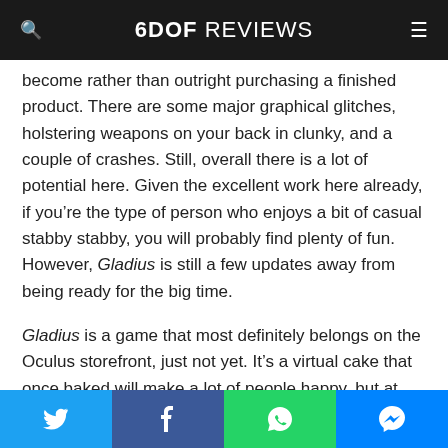6DOF REVIEWS
become rather than outright purchasing a finished product. There are some major graphical glitches, holstering weapons on your back in clunky, and a couple of crashes. Still, overall there is a lot of potential here. Given the excellent work here already, if you're the type of person who enjoys a bit of casual stabby stabby, you will probably find plenty of fun. However, Gladius is still a few updates away from being ready for the big time.
Gladius is a game that most definitely belongs on the Oculus storefront, just not yet. It's a virtual cake that once baked will make a lot of people happy, but at the moment it's still a bit raw and doughy. Also, I want cake...
Social share bar: Twitter, Facebook, WhatsApp, Messenger